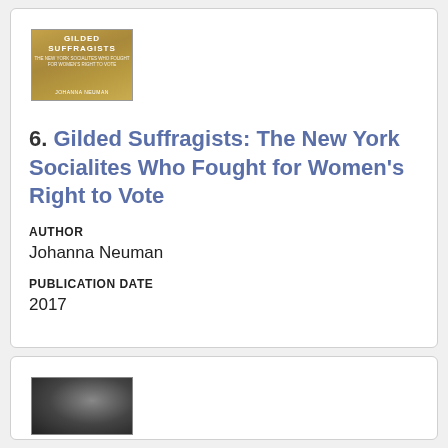[Figure (photo): Book cover of 'Gilded Suffragists: The New York Socialites Who Fought for Women's Right to Vote' by Johanna Neuman, gold/brown background with white text]
6. Gilded Suffragists: The New York Socialites Who Fought for Women's Right to Vote
AUTHOR
Johanna Neuman
PUBLICATION DATE
2017
[Figure (photo): Partial book cover, dark gray/black background, bottom of next list entry]